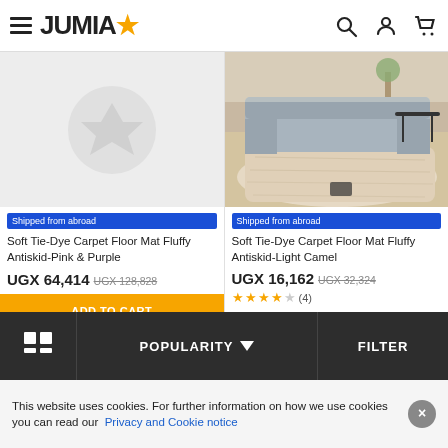JUMIA
[Figure (screenshot): Left product: placeholder image with Jumia star logo on grey background]
Shipped from abroad
Soft Tie-Dye Carpet Floor Mat Fluffy Antiskid-Pink & Purple
UGX 64,414 UGX 128,828
[Figure (screenshot): Right product: beige/camel fluffy area rug in living room setting with grey couch and side tables]
Shipped from abroad
Soft Tie-Dye Carpet Floor Mat Fluffy Antiskid-Light Camel
UGX 16,162 UGX 32,324
(4)
ADD TO CART
ADD TO CART
POPULARITY
FILTER
This website uses cookies. For further information on how we use cookies you can read our Privacy and Cookie notice